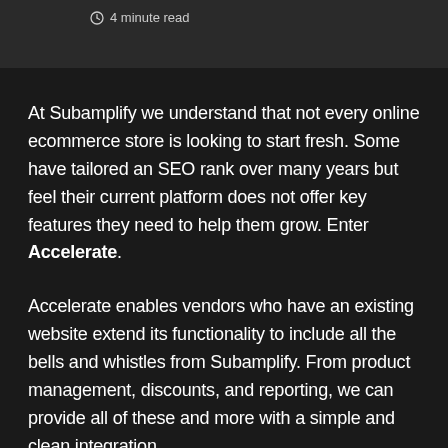⏱ 4 minute read
At Subamplify we understand that not every online ecommerce store is looking to start fresh. Some have tailored an SEO rank over many years but feel their current platform does not offer key features they need to help them grow. Enter Accelerate.
Accelerate enables vendors who have an existing website extend its functionality to include all the bells and whistles from Subamplify. From product management, discounts, and reporting, we can provide all of these and more with a simple and clean integration.
As part of our new tutorial series, Subamplify Sessions, our first episode will be guiding you